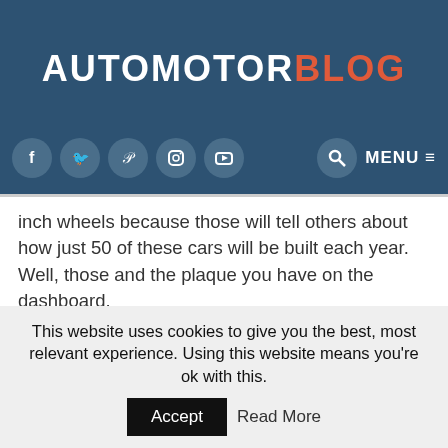AUTOMOTORBLOG
inch wheels because those will tell others about how just 50 of these cars will be built each year. Well, those and the plaque you have on the dashboard.
The most important part of this limited edition car is what Hurst did to the Hemi Hauler under the bonnet. The Dodge Ram special edition is getting a supercharger and a performance exhaust system fitted to the 5.7 liter Hemi
This website uses cookies to give you the best, most relevant experience. Using this website means you're ok with this.